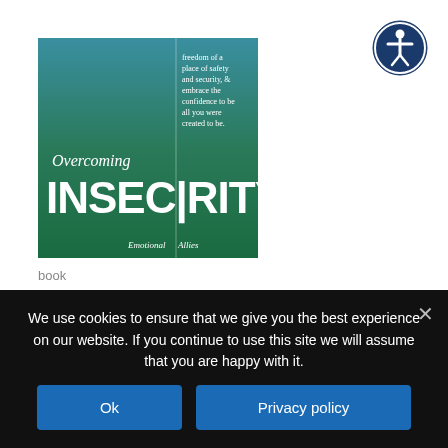[Figure (illustration): Book cover for 'Overcoming Insecurity' — green gradient background with large white text 'INSECURITY' and 'Overcoming' above it; right panel shows subtitle text about freedom, safety, confidence]
book
Overcoming Insecurity
$3.99 – $7.99
We use cookies to ensure that we give you the best experience on our website. If you continue to use this site we will assume that you are happy with it.
Ok
Privacy policy